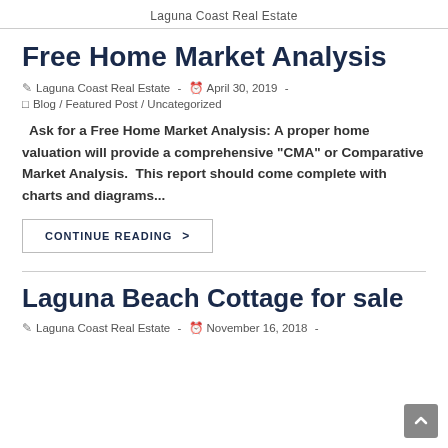Laguna Coast Real Estate
Free Home Market Analysis
Laguna Coast Real Estate  -  April 30, 2019  -
Blog / Featured Post / Uncategorized
Ask for a Free Home Market Analysis: A proper home valuation will provide a comprehensive "CMA" or Comparative Market Analysis.  This report should come complete with charts and diagrams...
CONTINUE READING  >
Laguna Beach Cottage for sale
Laguna Coast Real Estate  -  November 16, 2018  -